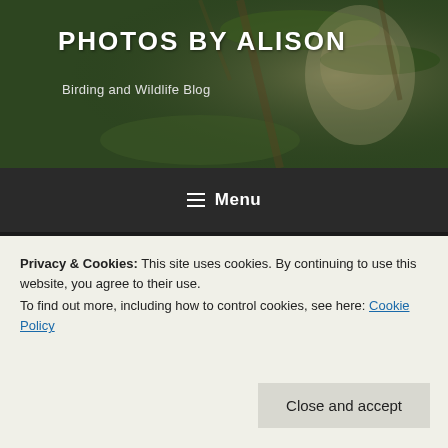[Figure (photo): Header banner with owl/wildlife photo background in greens and browns, blog site header]
PHOTOS BY ALISON
Birding and Wildlife Blog
Menu
TAG: GREY PARTRIDGE
30TH JUNE 2018
May -June 2018
Privacy & Cookies: This site uses cookies. By continuing to use this website, you agree to their use.
To find out more, including how to control cookies, see here: Cookie Policy
Close and accept